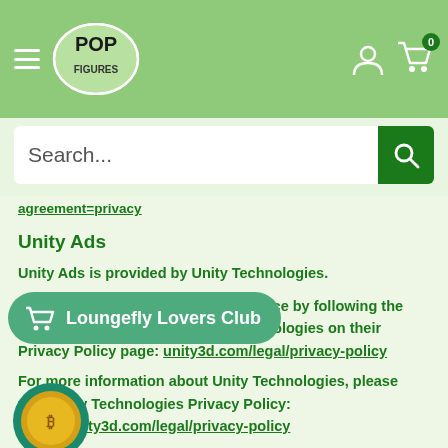[Figure (logo): Pop Figures website header with hamburger menu, logo, user icon, and cart with 0 badge]
[Figure (screenshot): Search bar with placeholder text 'Search...' and green search button]
agreement=privacy
Unity Ads
Unity Ads is provided by Unity Technologies.
You can opt-out from Unity Ads service by following the instructions provided by Unity Technologies on their Privacy Policy page: https://unity3d.com/legal/privacy-policy
[Figure (other): Loungefly Lovers Club promotional button overlay]
For more information about Unity Technologies, please visit Unity Technologies Privacy Policy: https://unity3d.com/legal/privacy-policy